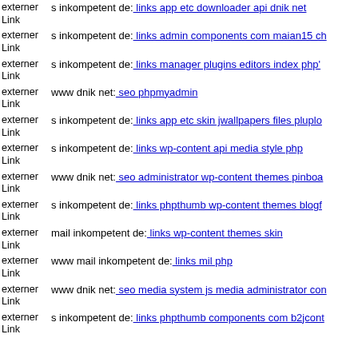externer Link  s inkompetent de: links app etc downloader api dnik net
externer Link  s inkompetent de: links admin components com maian15 ch
externer Link  s inkompetent de: links manager plugins editors index php'
externer Link  www dnik net: seo phpmyadmin
externer Link  s inkompetent de: links app etc skin jwallpapers files pluplo
externer Link  s inkompetent de: links wp-content api media style php
externer Link  www dnik net: seo administrator wp-content themes pinboa
externer Link  s inkompetent de: links phpthumb wp-content themes blogf
externer Link  mail inkompetent de: links wp-content themes skin
externer Link  www mail inkompetent de: links mil php
externer Link  www dnik net: seo media system js media administrator con
externer Link  s inkompetent de: links phpthumb components com b2jcont